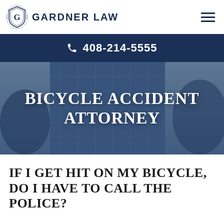[Figure (logo): Gardner Law logo with shield icon and text GARDNER LAW, plus hamburger menu icon in top right]
📞 408-214-5555
[Figure (photo): Background photo of a tall glass office building with trees, overlaid with dark blue tint, and white bold text BICYCLE ACCIDENT ATTORNEY centered]
IF I GET HIT ON MY BICYCLE, DO I HAVE TO CALL THE POLICE?